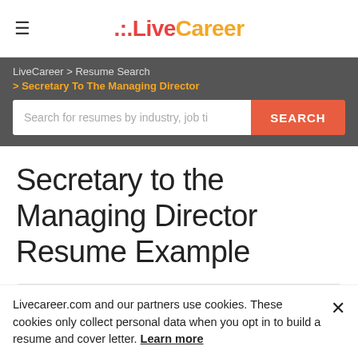LiveCareer
LiveCareer > Resume Search > Secretary To The Managing Director
Search for resumes by industry, job ti
Secretary to the Managing Director Resume Example
Love this resume?
Livecareer.com and our partners use cookies. These cookies only collect personal data when you opt in to build a resume and cover letter. Learn more